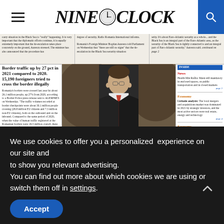Nine O'Clock — newspaper website header with hamburger menu, logo, and search button
[Figure (screenshot): Newspaper front page screenshot showing articles about border traffic, Black Sea security, a photo of a man in suit and tie, and National Prognosis Commission economic growth headline]
We use cookies to offer you a personalized experience on our site and
to show you relevant advertising.
You can find out more about which cookies we are using or switch them off in settings.
Accept